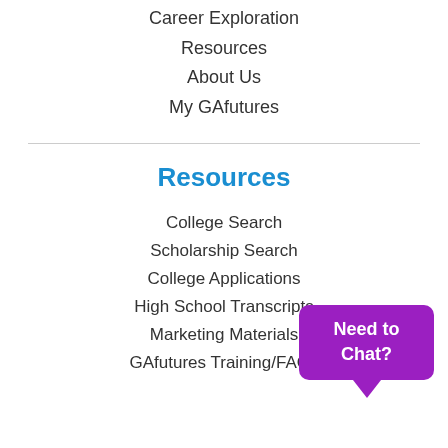Career Exploration
Resources
About Us
My GAfutures
Resources
College Search
Scholarship Search
College Applications
High School Transcripts
Marketing Materials
GAfutures Training/FAQs
[Figure (other): Purple speech bubble chat widget with text 'Need to Chat?']
Our Websites